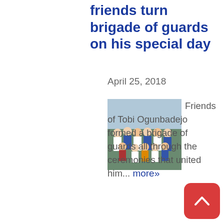friends turn brigade of guards on his special day
April 25, 2018
[Figure (photo): Group photo of friends of Tobi Ogunbadejo in matching attire]
Friends of Tobi Ogunbadejo formed a brigade of guards all through the ceremonies that united him... more»
CATEGORIES
Around The world
Beauty